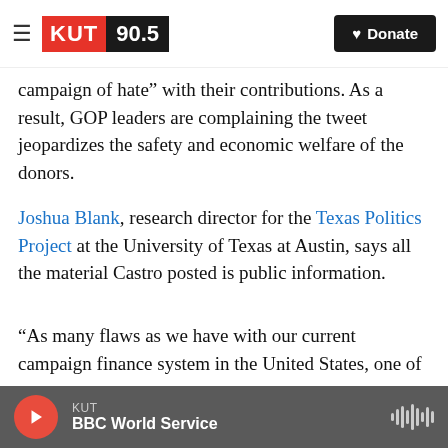KUT 90.5 | Donate
campaign of hate” with their contributions. As a result, GOP leaders are complaining the tweet jeopardizes the safety and economic welfare of the donors.
Joshua Blank, research director for the Texas Politics Project at the University of Texas at Austin, says all the material Castro posted is public information.
“As many flaws as we have with our current campaign finance system in the United States, one of the things we do relatively well is we require
KUT | BBC World Service